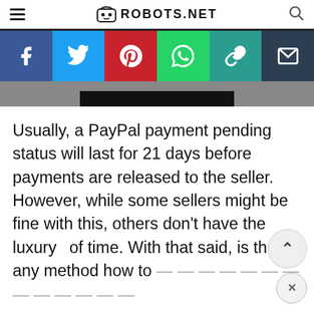ROBOTS.NET
[Figure (infographic): Social sharing bar with Facebook, Twitter, Pinterest, WhatsApp, copy link, and email buttons]
[Figure (photo): Partial image strip, mostly gray with a black rectangle in the center]
Usually, a PayPal payment pending status will last for 21 days before payments are released to the seller. However, while some sellers might be fine with this, others don't have the luxury of time. With that said, is there any method how to [get pending money from PayPal faster?]